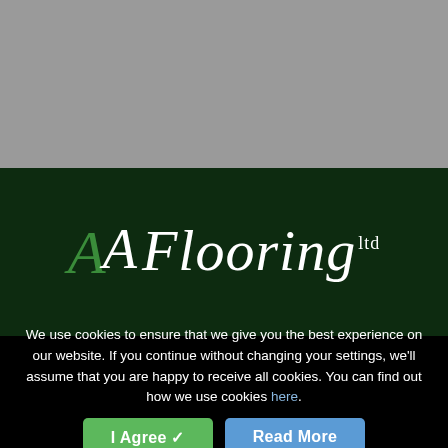[Figure (logo): Gray rectangle at top of page, background area]
[Figure (logo): AA Flooring ltd company logo on dark green background with stylized italic serif text]
We use cookies to ensure that we give you the best experience on our website. If you continue without changing your settings, we'll assume that you are happy to receive all cookies. You can find out how we use cookies here.
I Agree ✓
Read More